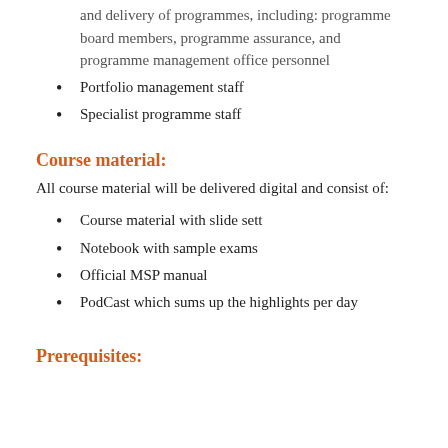and delivery of programmes, including: programme board members, programme assurance, and programme management office personnel
Portfolio management staff
Specialist programme staff
Course material:
All course material will be delivered digital and consist of:
Course material with slide sett
Notebook with sample exams
Official MSP manual
PodCast which sums up the highlights per day
Prerequisites: